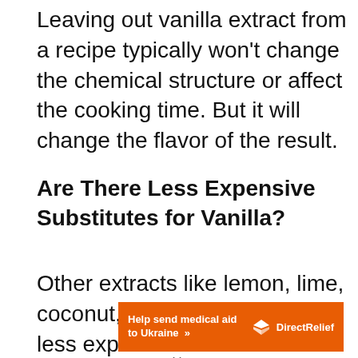Leaving out vanilla extract from a recipe typically won't change the chemical structure or affect the cooking time. But it will change the flavor of the result.
Are There Less Expensive Substitutes for Vanilla?
Other extracts like lemon, lime, coconut, and peppermint are less expensive and can be substituted for vanilla in some
[Figure (other): Orange advertisement banner reading 'Help send medical aid to Ukraine >>' with DirectRelief logo on the right]